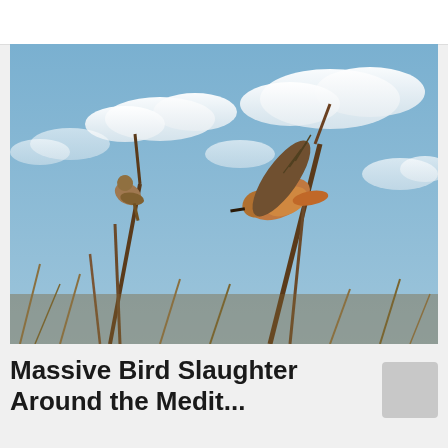[Figure (photo): Two small birds photographed from below against a partly cloudy blue sky. On the left, a small brownish bird is tangled or hanging upside down from a dried plant stalk. On the right, a larger bird with orange-rufous tail and belly, gray-brown wings spread in flight, perched or launching from a dried reed or stalk.]
Massive Bird Slaughter Around the Medit...